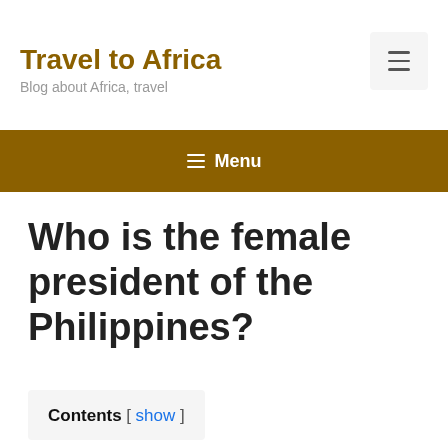Travel to Africa — Blog about Africa, travel
Who is the female president of the Philippines?
Contents [ show ]